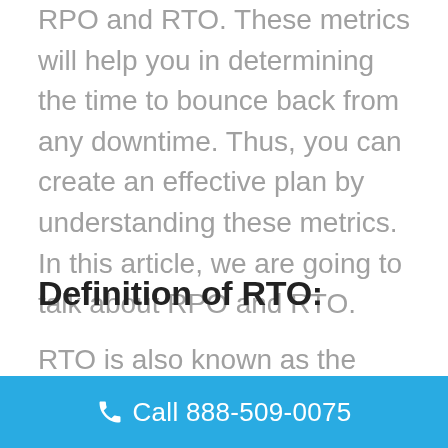RPO and RTO. These metrics will help you in determining the time to bounce back from any downtime. Thus, you can create an effective plan by understanding these metrics. In this article, we are going to talk about RPO and RTO.
Definition of RTO:
RTO is also known as the Recovery Time Objective. It is the maximum amount of downtime that your
Call 888-509-0075